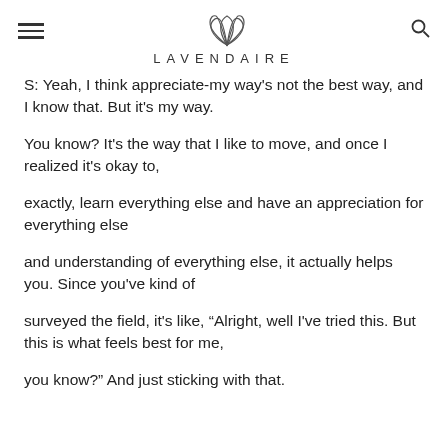LAVENDAIRE
S: Yeah, I think appreciate-my way's not the best way, and I know that. But it's my way.
You know? It's the way that I like to move, and once I realized it's okay to,
exactly, learn everything else and have an appreciation for everything else
and understanding of everything else, it actually helps you. Since you've kind of
surveyed the field, it's like, “Alright, well I've tried this. But this is what feels best for me,
you know?” And just sticking with that.